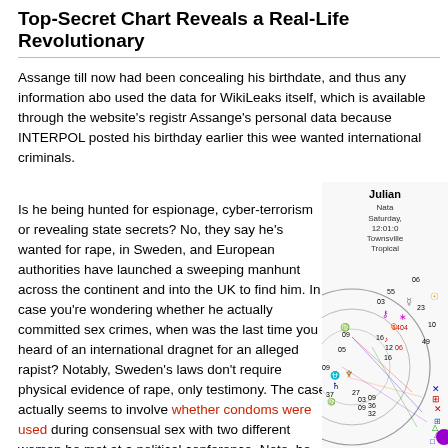Top-Secret Chart Reveals a Real-Life Revolutionary
Assange till now had been concealing his birthdate, and thus any information about used the data for WikiLeaks itself, which is available through the website's registr... Assange's personal data because INTERPOL posted his birthday earlier this wee... wanted international criminals.
Is he being hunted for espionage, cyber-terrorism or revealing state secrets? No, they say he's wanted for rape, in Sweden, and European authorities have launched a sweeping manhunt across the continent and into the UK to find him. In case you're wondering whether he actually committed sex crimes, when was the last time you heard of an international dragnet for an alleged rapist? Notably, Sweden's laws don't require physical evidence of rape, only testimony. The case actually seems to involve whether condoms were used during consensual sex with two different women he met at a political conference. Note, he has not been charged with any crime, and a new warrant had to be issued Thursday
[Figure (other): Partial astrological natal chart for Julian Assange showing zodiac wheel with planetary symbols, degree notations, and aspect lines. Labels visible: Julian, Nata, Saturday, 12:01:0, Townsville, Tropical. Numbers visible: 06, 55, 03, 23, 10, 49, 14, 04, 09, 16, 12, 06, 05, 27, 03, 09, 36, 09, 32, 37, 16.]